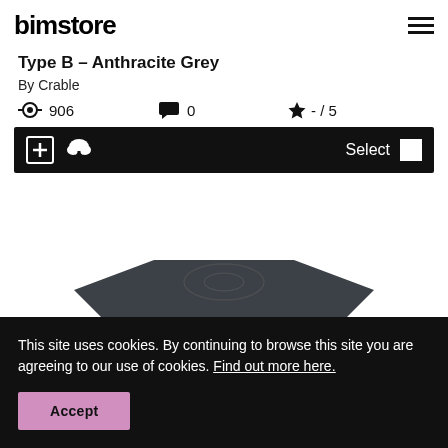bimstore
Type B – Anthracite Grey
By Crable
906  0  - / 5
[Figure (screenshot): Action bar with add, download icons and Select button on dark background]
[Figure (photo): Anthracite grey product (device) partially visible at bottom]
This site uses cookies. By continuing to browse this site you are agreeing to our use of cookies. Find out more here.
Accept